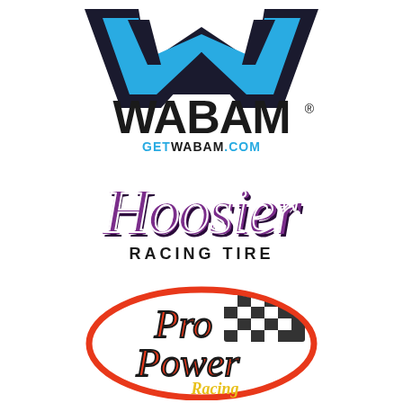[Figure (logo): WABAM logo with blue W-shaped mark above bold black WABAM text with registered trademark symbol, and GETWABAM.COM in blue below]
[Figure (logo): Hoosier Racing Tire logo with stylized purple gothic lettering 'Hoosier' and 'RACING TIRE' in black below]
[Figure (logo): Pro Power Racing logo with orange/red oval border, checkered flag, 'Pro Power' in orange block letters, and 'Racing' in yellow script]